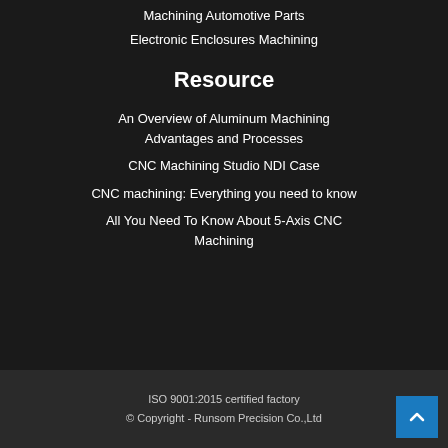Machining Automotive Parts
Electronic Enclosures Machining
Resource
An Overview of Aluminum Machining Advantages and Processes
CNC Machining Studio NDI Case
CNC machining: Everything you need to know
All You Need To Know About 5-Axis CNC Machining
ISO 9001:2015 certified factory
© Copyright - Runsom Precision Co.,Ltd